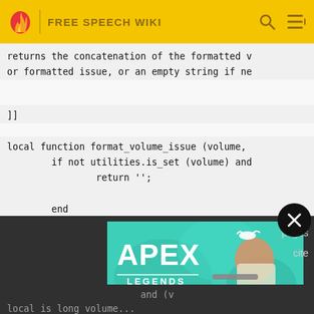FREE SPEECH WIKI
returns the concatenation of the formatted v
or formatted issue, or an empty string if ne
]]
local function format_volume_issue (volume,
        if not utilities.is_set (volume) and
                return '';

        end
[Figure (photo): Apex Legends advertisement banner showing a character with a sniper rifle on a teal background]
pages
cite
and (v
local is_long_volume...